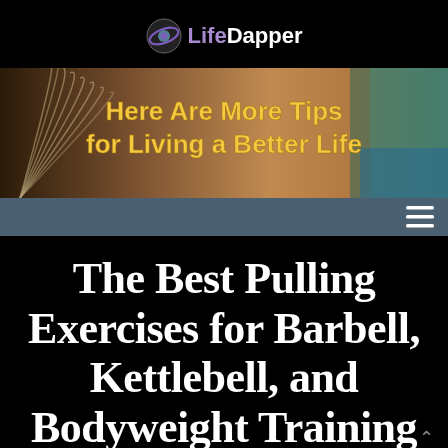LifeDapper
[Figure (illustration): Banner image with text 'Here Are More Tips for Living a Better Life' on a decorative background with book pages and outdoor scenery]
[Figure (other): Navigation bar with hamburger menu icon on dark teal background]
The Best Pulling Exercises for Barbell, Kettlebell, and Bodyweight Training